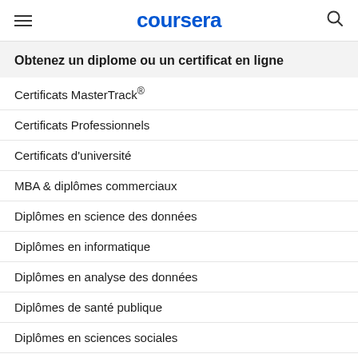coursera
Obtenez un diplome ou un certificat en ligne
Certificats MasterTrack®
Certificats Professionnels
Certificats d'université
MBA & diplômes commerciaux
Diplômes en science des données
Diplômes en informatique
Diplômes en analyse des données
Diplômes de santé publique
Diplômes en sciences sociales
Diplômes en gestion
Diplômes des meilleures universités européennes
Masters
Licences